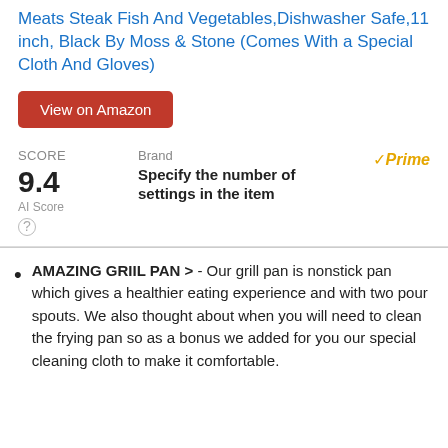Meats Steak Fish And Vegetables,Dishwasher Safe,11 inch, Black By Moss & Stone (Comes With a Special Cloth And Gloves)
View on Amazon
SCORE 9.4 AI Score Brand Specify the number of settings in the item Prime
AMAZING GRIIL PAN > - Our grill pan is nonstick pan which gives a healthier eating experience and with two pour spouts. We also thought about when you will need to clean the frying pan so as a bonus we added for you our special cleaning cloth to make it comfortable.